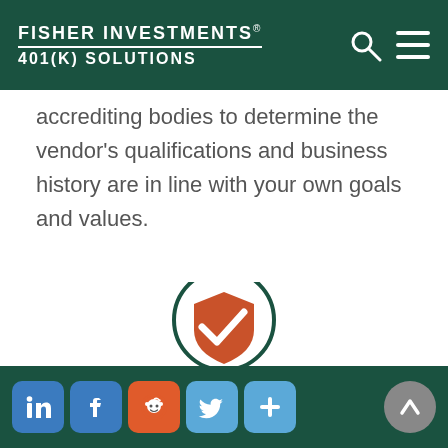Fisher Investments® 401(k) Solutions
accrediting bodies to determine the vendor's qualifications and business history are in line with your own goals and values.
[Figure (logo): Fisher Investments 401(k) Solutions logo with shield icon and social sharing buttons (LinkedIn, Facebook, Reddit, Twitter, More) and an up-arrow scroll button]
Social sharing icons: LinkedIn, Facebook, Reddit, Twitter, More; scroll-to-top button